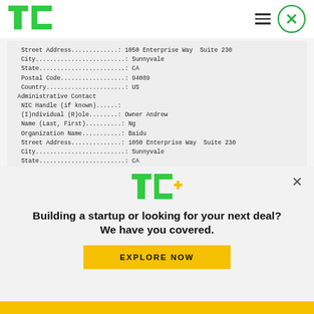TechCrunch header with logo and navigation icons
Street Address.............: 1050 Enterprise Way  Suite 230
City.........................: Sunnyvale
State........................: CA
Postal Code..................: 94089
Country......................: US
Administrative Contact
 NIC Handle (if known)......:
 (I)ndividual (R)ole........: Owner Andrew
 Name (Last, First)..........: Ng
 Organization Name...........: Baidu
 Street Address..............: 1050 Enterprise Way  Suite 230
 City.........................: Sunnyvale
 State........................: CA
 Postal Code..................: 94089
 Country......................: US
 Phone Number.................: +1.6507252593
 Fax Number...................:
[Figure (other): TechCrunch TC+ logo advertisement overlay with headline 'Building a startup or looking for your next deal? We have you covered.' and EXPLORE NOW button]